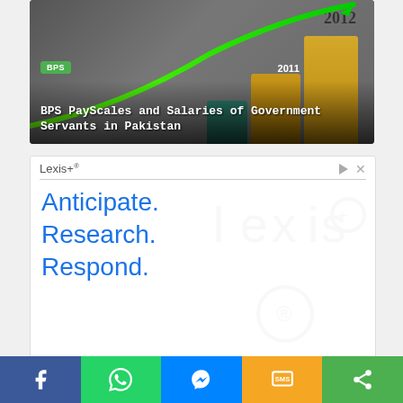[Figure (photo): Article thumbnail showing bar chart with years 2011 and 2012, green upward arrow, gold/teal bars on dark background]
BPS PayScales and Salaries of Government Servants in Pakistan
[Figure (screenshot): Advertisement for Lexis+ with text: Anticipate. Research. Respond. on white background with watermark symbols]